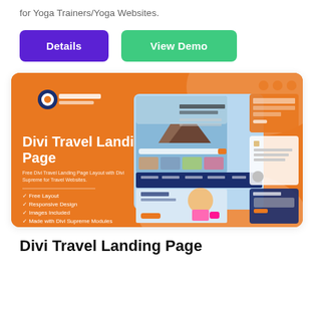for Yoga Trainers/Yoga Websites.
Details
View Demo
[Figure (screenshot): Screenshot of Divi Travel Landing Page product card with orange background, showing travel website layout with mountain image, 'Next Place for Vacation' heading, and feature list: Free Layout, Responsive Design, Images Included, Made with Divi Supreme Modules]
Divi Travel Landing Page